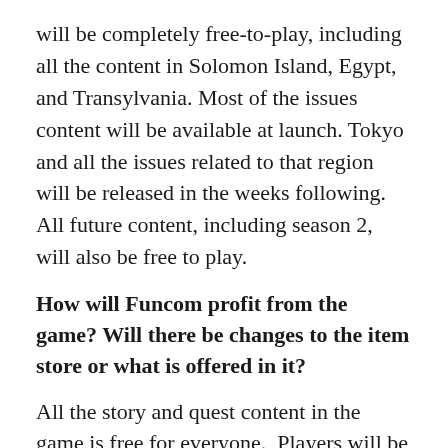will be completely free-to-play, including all the content in Solomon Island, Egypt, and Transylvania. Most of the issues content will be available at launch. Tokyo and all the issues related to that region will be released in the weeks following.  All future content, including season 2, will also be free to play.
How will Funcom profit from the game? Will there be changes to the item store or what is offered in it?
All the story and quest content in the game is free for everyone.  Players will be able to purchase a variety of in-game items and services including additional characters, unlocking new weapons, extra inventory space, exclusive vanity items, and more.
What does the change away from an MMO to an RPG mean for future content? Such as, we know that the